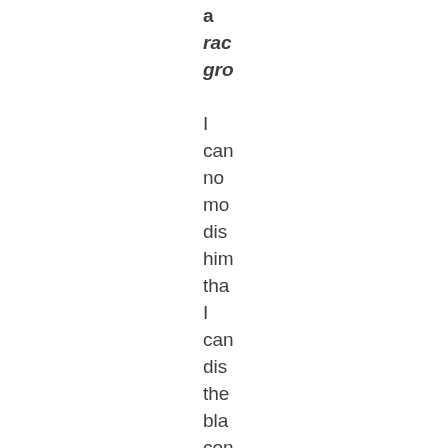a rac gro I can no mo dis him tha I can dis the bla con I can no mo dis him th